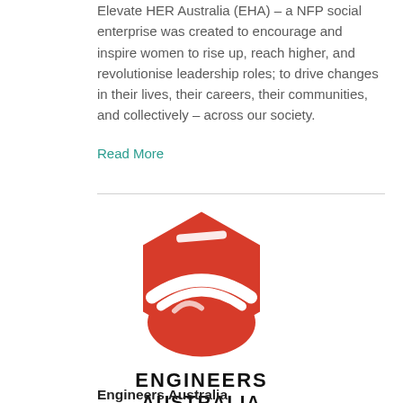Elevate HER Australia (EHA) – a NFP social enterprise was created to encourage and inspire women to rise up, reach higher, and revolutionise leadership roles; to drive changes in their lives, their careers, their communities, and collectively – across our society.
Read More
[Figure (logo): Engineers Australia logo – red hexagon shape with white curved stripe and white highlight bar, with text ENGINEERS AUSTRALIA below in bold black uppercase letters]
Engineers Australia